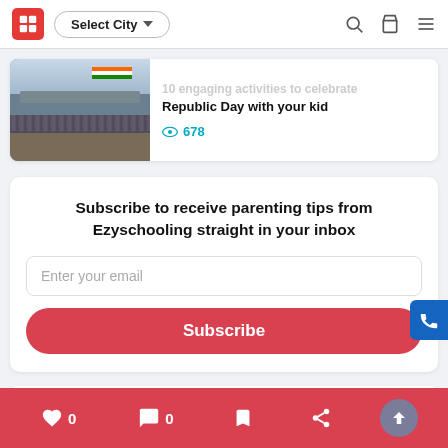Select City
[Figure (screenshot): Article card showing Republic Day parade with Indian flags and crowd, with truncated title '10 engaging activities to celebrate Republic Day with your kid' and view count 678]
10 engaging activities to celebrate Republic Day with your kid
678
Subscribe to receive parenting tips from Ezyschooling straight in your inbox
Enter your email
Subscribe
0  0